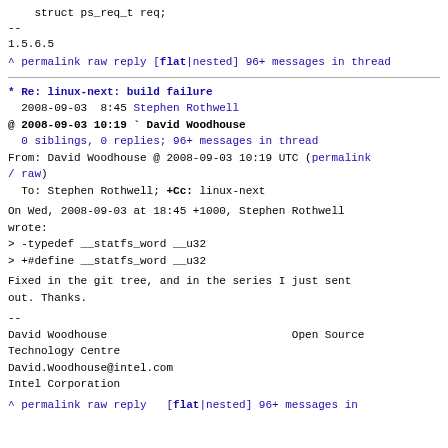struct ps_req_t req;
--
1.5.6.5
^ permalink raw reply   [flat|nested] 96+ messages in thread
* Re: linux-next: build failure
2008-09-03  8:45 Stephen Rothwell
@ 2008-09-03 10:19 ` David Woodhouse
  0 siblings, 0 replies; 96+ messages in thread
From: David Woodhouse @ 2008-09-03 10:19 UTC (permalink / raw)
To: Stephen Rothwell; +Cc: linux-next
On Wed, 2008-09-03 at 18:45 +1000, Stephen Rothwell wrote:
> -typedef __statfs_word __u32
> +#define __statfs_word __u32
Fixed in the git tree, and in the series I just sent out. Thanks.
--
David Woodhouse                            Open Source Technology Centre
David.Woodhouse@intel.com
Intel Corporation
^ permalink raw reply   [flat|nested] 96+ messages in